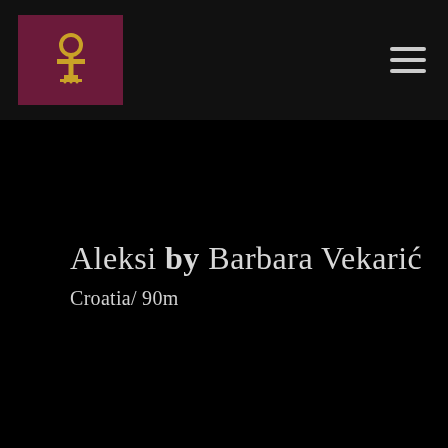[Figure (logo): Dark header bar with a maroon/burgundy square logo containing a golden ankh-like symbol with a circular top and decorative base, and a hamburger menu icon on the right]
Aleksi by Barbara Vekarić
Croatia/ 90m